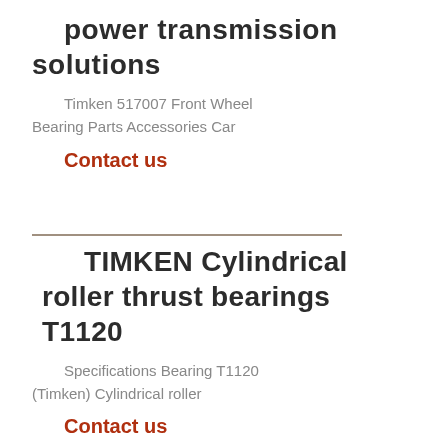power transmission solutions
Timken 517007 Front Wheel Bearing Parts Accessories Car
Contact us
TIMKEN Cylindrical roller thrust bearings T1120
Specifications Bearing T1120 (Timken) Cylindrical roller
Contact us